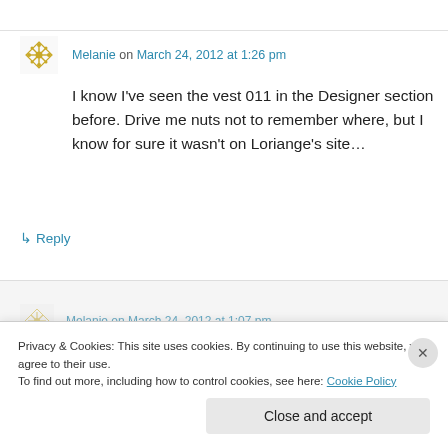Melanie on March 24, 2012 at 1:26 pm
I know I've seen the vest 011 in the Designer section before. Drive me nuts not to remember where, but I know for sure it wasn't on Loriange's site…
↳ Reply
Melanie on March 24, 2012 at 1:07 pm
Privacy & Cookies: This site uses cookies. By continuing to use this website, you agree to their use. To find out more, including how to control cookies, see here: Cookie Policy
Close and accept